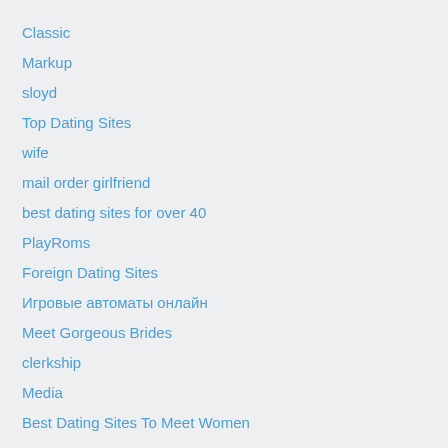Classic
Markup
sloyd
Top Dating Sites
wife
mail order girlfriend
best dating sites for over 40
PlayRoms
Foreign Dating Sites
Игровые автоматы онлайн
Meet Gorgeous Brides
clerkship
Media
Best Dating Sites To Meet Women